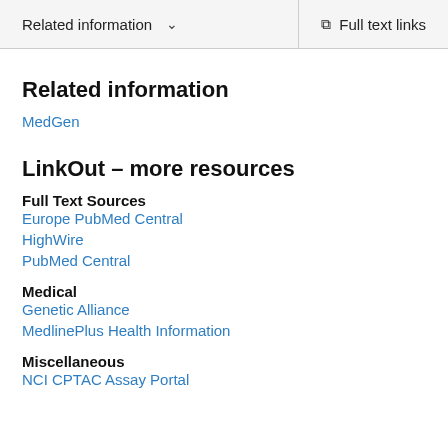Related information   ∨   Full text links
Related information
MedGen
LinkOut – more resources
Full Text Sources
Europe PubMed Central
HighWire
PubMed Central
Medical
Genetic Alliance
MedlinePlus Health Information
Miscellaneous
NCI CPTAC Assay Portal